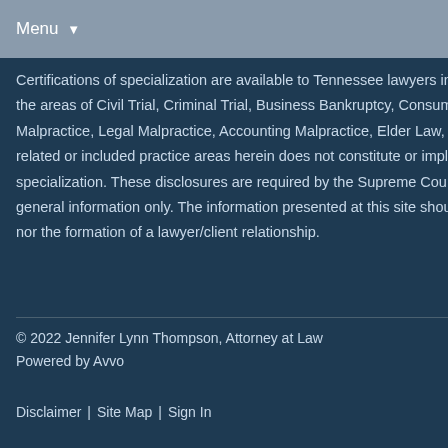Menu ▼
Certifications of specialization are available to Tennessee lawyers in all areas of practice relating to or included in the areas of Civil Trial, Criminal Trial, Business Bankruptcy, Consumer Bankruptcy, Creditor's Rights, Medical Malpractice, Legal Malpractice, Accounting Malpractice, Elder Law, Estate Planning and Family Law. Listing of related or included practice areas herein does not constitute or imply representation of certification of specialization. These disclosures are required by the Supreme Court of Tennessee. This web site is designed for general information only. The information presented at this site should not be construed to be formal legal advice nor the formation of a lawyer/client relationship.
© 2022 Jennifer Lynn Thompson, Attorney at Law
Powered by Avvo

Disclaimer | Site Map | Sign In